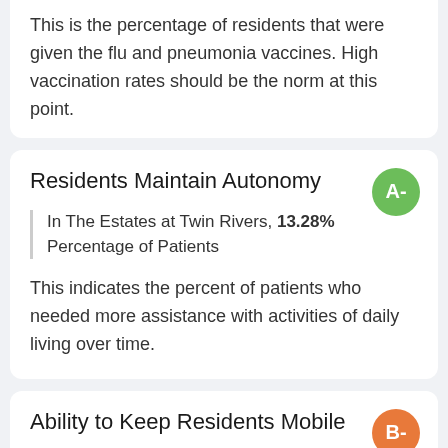This is the percentage of residents that were given the flu and pneumonia vaccines. High vaccination rates should be the norm at this point.
Residents Maintain Autonomy
In The Estates at Twin Rivers, 13.28% Percentage of Patients
This indicates the percent of patients who needed more assistance with activities of daily living over time.
Ability to Keep Residents Mobile
In The Estates at Twin Rivers, 20.05% Percentage of